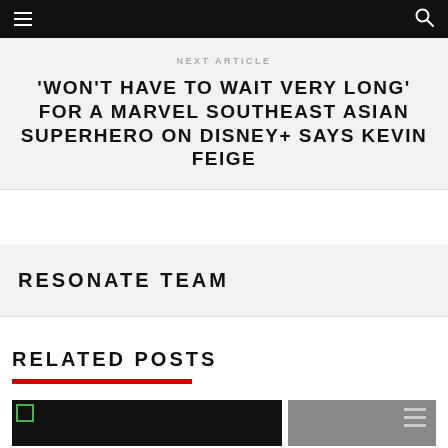Navigation bar with menu and search icons
NEXT ARTICLE
'WON'T HAVE TO WAIT VERY LONG' FOR A MARVEL SOUTHEAST ASIAN SUPERHERO ON DISNEY+ SAYS KEVIN FEIGE
RESONATE TEAM
RELATED POSTS
[Figure (photo): Two thumbnail images for related posts: left is dark/black image with small green icon, right shows a partial image with metal bars or handles visible]
[Figure (photo): Right thumbnail showing metallic bars or handles]